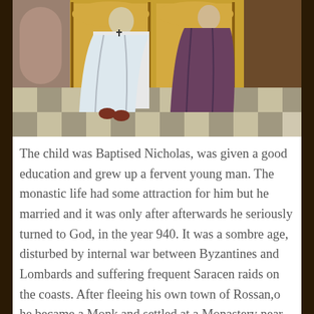[Figure (illustration): Byzantine-style icon painting showing two robed figures, one in white robes, standing on a checkered floor in front of golden doorways/panels. Religious iconographic art style.]
The child was Baptised Nicholas, was given a good education and grew up a fervent young man. The monastic life had some attraction for him but he married and it was only after afterwards he seriously turned to God, in the year 940. It was a sombre age, disturbed by internal war between Byzantines and Lombards and suffering frequent Saracen raids on the coasts. After fleeing his own town of Rossan,o he became a Monk and settled at a Monastery near Palma on the Tyrrhenian Sea. A